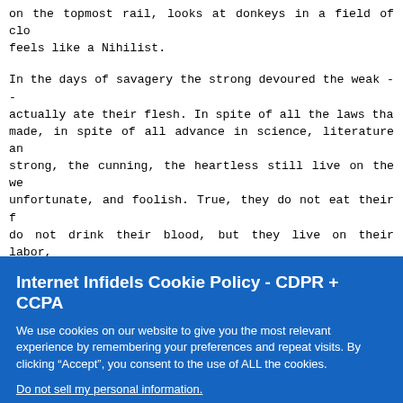on the topmost rail, looks at donkeys in a field of clo... feels like a Nihilist.
In the days of savagery the strong devoured the weak -- actually ate their flesh. In spite of all the laws that made, in spite of all advance in science, literature an... strong, the cunning, the heartless still live on the wea... unfortunate, and foolish. True, they do not eat their f... do not drink their blood, but they live on their labor, self-denial, their weariness and want. The poor man who himself by toil, who labors for wife and child through a... anxious, barren, wasted life -- who goes to the grave wi... having had one luxury -- has been the food of others. He... devoured by his fellow-men. The poor woman living in th... lonely room, cheerless and fireless, sewing night and da... starvation from a child, is slowly being eaten by her f...
Internet Infidels Cookie Policy - CDPR + CCPA
We use cookies on our website to give you the most relevant experience by remembering your preferences and repeat visits. By clicking “Accept”, you consent to the use of ALL the cookies.
Do not sell my personal information.